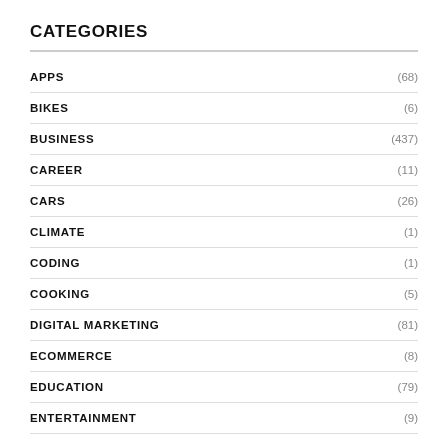CATEGORIES
APPS (68)
BIKES (6)
BUSINESS (437)
CAREER (11)
CARS (26)
CLIMATE (1)
CODING (1)
COOKING (5)
DIGITAL MARKETING (81)
ECOMMERCE (8)
EDUCATION (79)
ENTERTAINMENT (9)